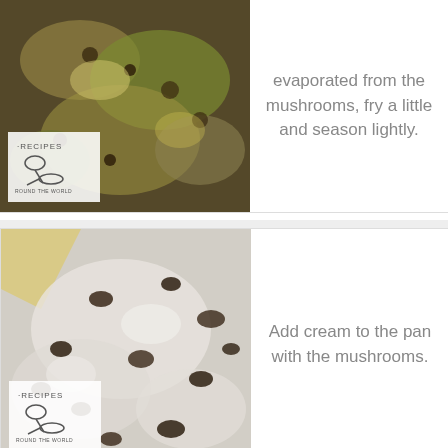[Figure (photo): Cooked mushrooms with cheese in a pan, with a recipes round the world logo overlay]
evaporated from the mushrooms, fry a little and season lightly.
[Figure (photo): Cream added to mushrooms in a pan, showing white creamy sauce with mushrooms, with a recipes round the world logo overlay]
Add cream to the pan with the mushrooms.
[Figure (photo): Stirring thick creamy mushroom sauce in a pan]
Stir until thick. Season with salt